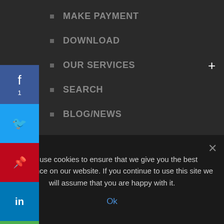MAKE PAYMENT
DOWNLOAD
OUR SERVICES
SEARCH
BLOG/NEWS
[Figure (infographic): Social media sharing sidebar with Facebook (f, 1), Twitter, Pinterest, LinkedIn, Email, and Print buttons]
We Are Here
We use cookies to ensure that we give you the best experience on our website. If you continue to use this site we will assume that you are happy with it.
Ok